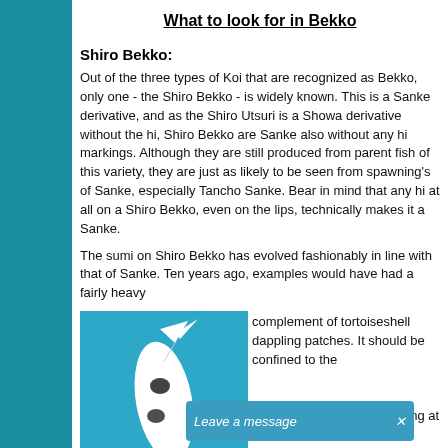What to look for in Bekko
Shiro Bekko:
Out of the three types of Koi that are recognized as Bekko, only one - the Shiro Bekko - is widely known. This is a Sanke derivative, and as the Shiro Utsuri is a Showa derivative without the hi, Shiro Bekko are Sanke also without any hi markings. Although they are still produced from parent fish of this variety, they are just as likely to be seen from spawning's of Sanke, especially Tancho Sanke. Bear in mind that any hi at all on a Shiro Bekko, even on the lips, technically makes it a Sanke.
The sumi on Shiro Bekko has evolved fashionably in line with that of Sanke. Ten years ago, examples would have had a fairly heavy
[Figure (photo): A Shiro Bekko koi fish photographed against a blue background, showing the white body with black markings.]
complement of tortoiseshell dappling patches. It should be confined to the
The black markings beginning at the sh...